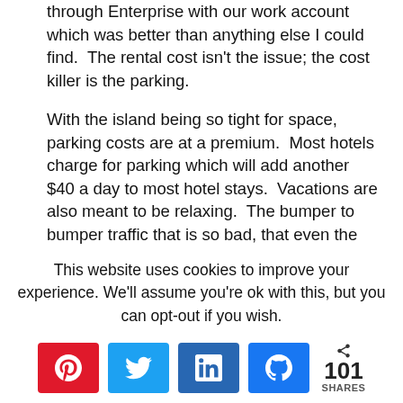through Enterprise with our work account which was better than anything else I could find.  The rental cost isn't the issue; the cost killer is the parking.

With the island being so tight for space, parking costs are at a premium.  Most hotels charge for parking which will add another $40 a day to most hotel stays.  Vacations are also meant to be relaxing.  The bumper to bumper traffic that is so bad, that even the interstates have speed limits of 45 MPH makes it a pain to get from point A to point
This website uses cookies to improve your experience. We'll assume you're ok with this, but you can opt-out if you wish.
[Figure (infographic): Social share bar with Pinterest, Twitter, LinkedIn, Facebook buttons and a share count of 101 SHARES]